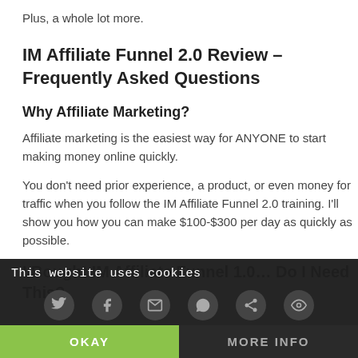Plus, a whole lot more.
IM Affiliate Funnel 2.0 Review – Frequently Asked Questions
Why Affiliate Marketing?
Affiliate marketing is the easiest way for ANYONE to start making money online quickly.
You don't need prior experience, a product, or even money for traffic when you follow the IM Affiliate Funnel 2.0 training. I'll show you how you can make $100-$300 per day as quickly as possible.
I Bought IM Affiliate Funnel 1.0… Do I Need This?
This website uses cookies
OKAY
MORE INFO